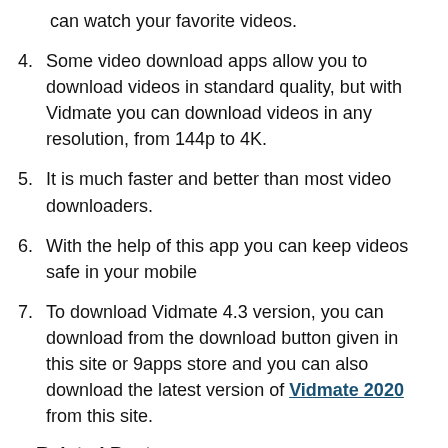can watch your favorite videos.
4. Some video download apps allow you to download videos in standard quality, but with Vidmate you can download videos in any resolution, from 144p to 4K.
5. It is much faster and better than most video downloaders.
6. With the help of this app you can keep videos safe in your mobile
7. To download Vidmate 4.3 version, you can download from the download button given in this site or 9apps store and you can also download the latest version of Vidmate 2020 from this site.
Related Posts: